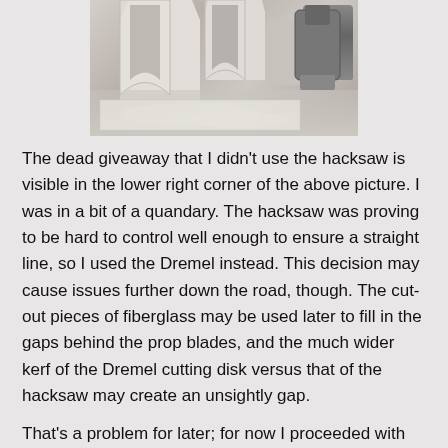[Figure (photo): A photo showing fiberglass pieces that have been cut, with a Dremel tool visible in the lower right corner. White/grey cut material and debris visible on a flat surface.]
The dead giveaway that I didn't use the hacksaw is visible in the lower right corner of the above picture. I was in a bit of a quandary. The hacksaw was proving to be hard to control well enough to ensure a straight line, so I used the Dremel instead. This decision may cause issues further down the road, though. The cut-out pieces of fiberglass may be used later to fill in the gaps behind the prop blades, and the much wider kerf of the Dremel cutting disk versus that of the hacksaw may create an unsightly gap.
That's a problem for later; for now I proceeded with the clean-up sanding of the circular cut-out area. That was as simple as wrapping a piece of sandpaper around a big metal socket and enjoying a few moments in the waning afternoon sun, serenaded by the sound of barking seals. Well, at least